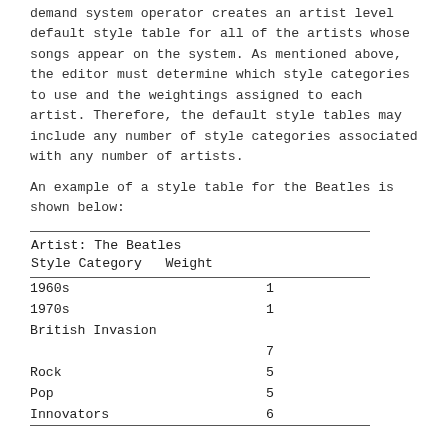demand system operator creates an artist level default style table for all of the artists whose songs appear on the system. As mentioned above, the editor must determine which style categories to use and the weightings assigned to each artist. Therefore, the default style tables may include any number of style categories associated with any number of artists.
An example of a style table for the Beatles is shown below:
| Style Category | Weight |
| --- | --- |
| Artist: The Beatles |  |
| 1960s | 1 |
| 1970s | 1 |
| British Invasion |  |
|  | 7 |
| Rock | 5 |
| Pop | 5 |
| Innovators | 6 |